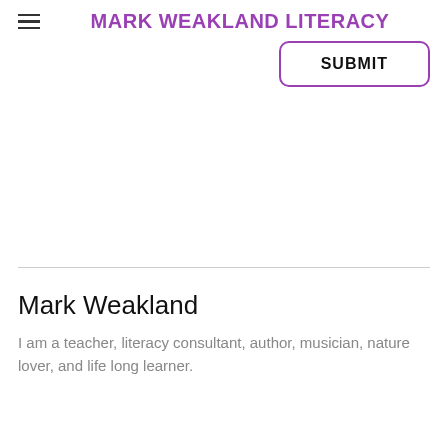MARK WEAKLAND LITERACY
[Figure (other): SUBMIT button with purple rounded border]
Mark Weakland
I am a teacher,  literacy consultant, author, musician, nature lover, and life long learner.